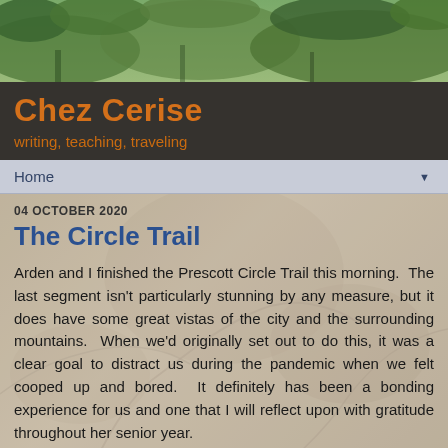[Figure (photo): Nature/landscape photo banner showing green foliage and trees]
Chez Cerise
writing, teaching, traveling
Home ▼
04 OCTOBER 2020
The Circle Trail
Arden and I finished the Prescott Circle Trail this morning.  The last segment isn't particularly stunning by any measure, but it does have some great vistas of the city and the surrounding mountains.  When we'd originally set out to do this, it was a clear goal to distract us during the pandemic when we felt cooped up and bored.  It definitely has been a bonding experience for us and one that I will reflect upon with gratitude throughout her senior year.